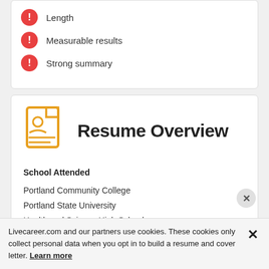Length
Measurable results
Strong summary
Resume Overview
School Attended
Portland Community College
Portland State University
Health and Science High School
Biomedical Innovations (Oregon Institute of Technology)
Livecareer.com and our partners use cookies. These cookies only collect personal data when you opt in to build a resume and cover letter. Learn more